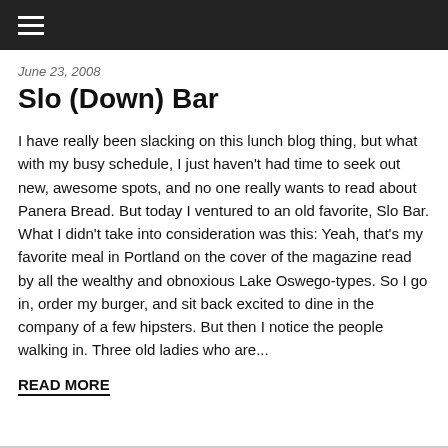≡
June 23, 2008
Slo (Down) Bar
I have really been slacking on this lunch blog thing, but what with my busy schedule, I just haven't had time to seek out new, awesome spots, and no one really wants to read about Panera Bread. But today I ventured to an old favorite, Slo Bar. What I didn't take into consideration was this: Yeah, that's my favorite meal in Portland on the cover of the magazine read by all the wealthy and obnoxious Lake Oswego-types. So I go in, order my burger, and sit back excited to dine in the company of a few hipsters. But then I notice the people walking in. Three old ladies who are...
READ MORE